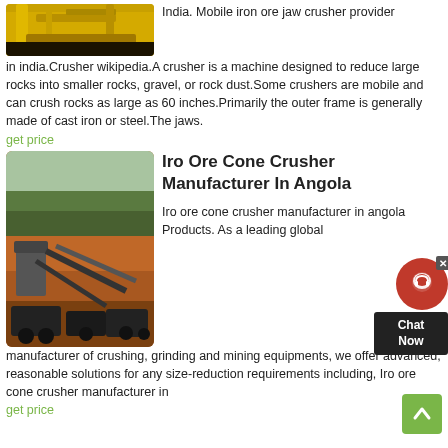[Figure (photo): Yellow industrial machinery/crane equipment]
India. Mobile iron ore jaw crusher provider in india.Crusher wikipedia.A crusher is a machine designed to reduce large rocks into smaller rocks, gravel, or rock dust.Some crushers are mobile and can crush rocks as large as 60 inches.Primarily the outer frame is generally made of cast iron or steel.The jaws.
get price
[Figure (photo): Mobile crushing and screening equipment on a mining site with red/orange clay terrain and trees in background]
Iro Ore Cone Crusher Manufacturer In Angola
Iro ore cone crusher manufacturer in angola Products. As a leading global manufacturer of crushing, grinding and mining equipments, we offer advanced, reasonable solutions for any size-reduction requirements including, Iro ore cone crusher manufacturer in
get price